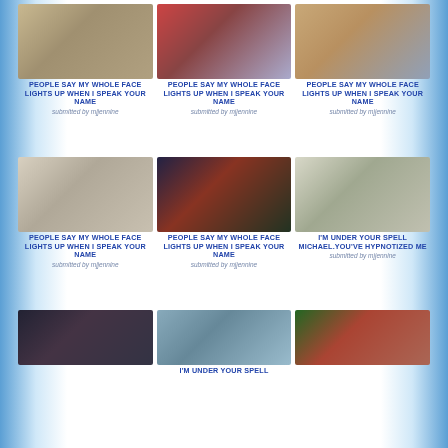[Figure (photo): Person in hat holding a white board]
PEOPLE SAY MY WHOLE FACE LIGHTS UP WHEN I SPEAK YOUR NAME
submitted by mjjennine
[Figure (photo): Person in red with child in stroller]
PEOPLE SAY MY WHOLE FACE LIGHTS UP WHEN I SPEAK YOUR NAME
submitted by mjjennine
[Figure (photo): Person in tan coat with large head near wall]
PEOPLE SAY MY WHOLE FACE LIGHTS UP WHEN I SPEAK YOUR NAME
submitted by mjjennine
[Figure (photo): Group of people walking]
PEOPLE SAY MY WHOLE FACE LIGHTS UP WHEN I SPEAK YOUR NAME
submitted by mjjennine
[Figure (photo): Person with sunglasses saluting next to uniformed guard]
PEOPLE SAY MY WHOLE FACE LIGHTS UP WHEN I SPEAK YOUR NAME
submitted by mjjennine
[Figure (photo): Person behind curtain]
I'M UNDER YOUR SPELL MICHAEL. YOU'VE HYPNOTIZED ME
submitted by mjjennine
[Figure (photo): Person in black jacket crouching]
[Figure (photo): Person with Mickey Mouse character in crowd]
I'M UNDER YOUR SPELL
[Figure (photo): Person with curly hair in red top]